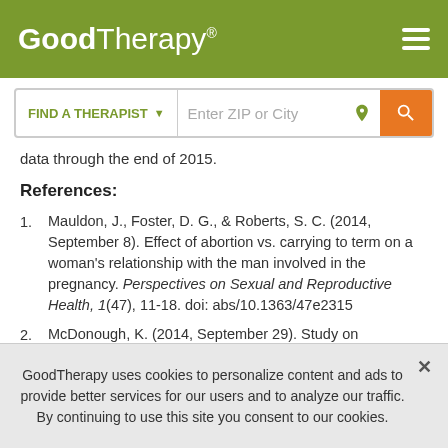GoodTherapy®
data through the end of 2015.
References:
Mauldon, J., Foster, D. G., & Roberts, S. C. (2014, September 8). Effect of abortion vs. carrying to term on a woman's relationship with the man involved in the pregnancy. Perspectives on Sexual and Reproductive Health, 1(47), 11-18. doi: abs/10.1363/47e2315
McDonough, K. (2014, September 29). Study on reproductive rights and domestic violence: Being
GoodTherapy uses cookies to personalize content and ads to provide better services for our users and to analyze our traffic. By continuing to use this site you consent to our cookies.